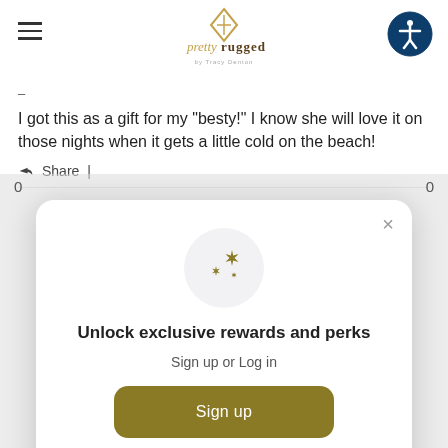pretty rugged — by Tracy Denton
I got this as a gift for my "besty!" I know she will love it on those nights when it gets a little cold on the beach!
Share
Unlock exclusive rewards and perks
Sign up or Log in
Sign up
Already have an account? Sign in